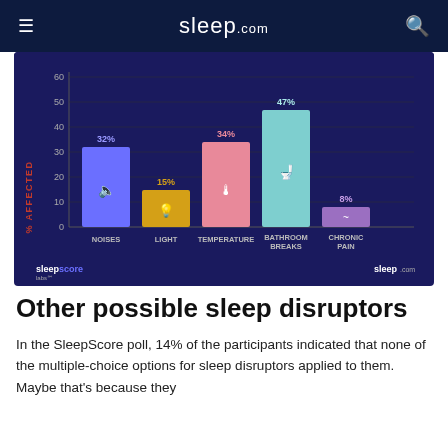sleep.com
[Figure (bar-chart): % Affected by Sleep Disruptors]
Other possible sleep disruptors
In the SleepScore poll, 14% of the participants indicated that none of the multiple-choice options for sleep disruptors applied to them. Maybe that's because they